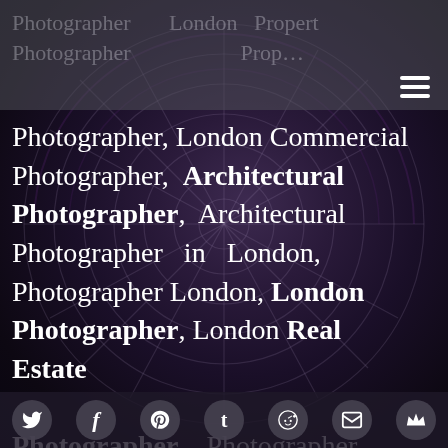Photographer, London Commercial Photographer, Architectural Photographer, Property
Photographer, London Commercial Photographer, Architectural Photographer, Architectural Photographer in London, Photographer London, London Photographer, London Real Estate Photographer, Photographer in Lond
Social media icons: Twitter, Facebook, Pinterest, Tumblr, Reddit, Email, Crown